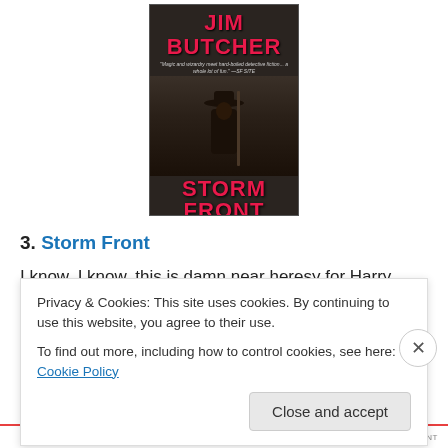[Figure (illustration): Book cover of 'Storm Front' by Jim Butcher — a novel of the Dresden Files. Shows a dark-coated figure holding a staff with a wide-brimmed hat, with the author name in pink/red text at top and title STORM FRONT in large red letters at bottom.]
3. Storm Front
I know. I know. this is damn near heresy for Harry Dresden
Privacy & Cookies: This site uses cookies. By continuing to use this website, you agree to their use.
To find out more, including how to control cookies, see here: Cookie Policy
Close and accept